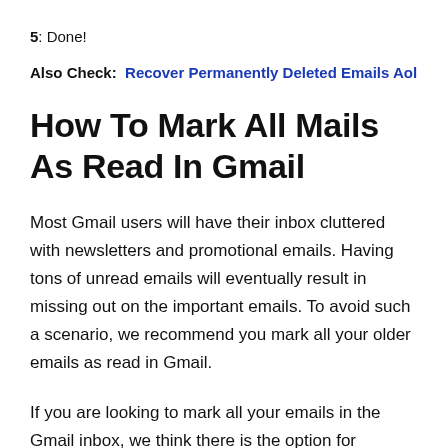5: Done!
Also Check:  Recover Permanently Deleted Emails Aol
How To Mark All Mails As Read In Gmail
Most Gmail users will have their inbox cluttered with newsletters and promotional emails. Having tons of unread emails will eventually result in missing out on the important emails. To avoid such a scenario, we recommend you mark all your older emails as read in Gmail.
If you are looking to mark all your emails in the Gmail inbox, we think there is the option for